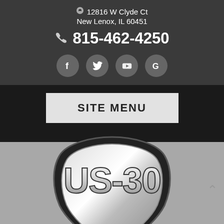📍 12816 W Clyde Ct
New Lenox, IL 60451
📞 815-462-4250
[Figure (logo): Social media icon buttons: Facebook, Twitter, YouTube, Google]
SITE MENU
[Figure (logo): US-30 route shield logo badge with chrome/silver text on black shield]
Text Us